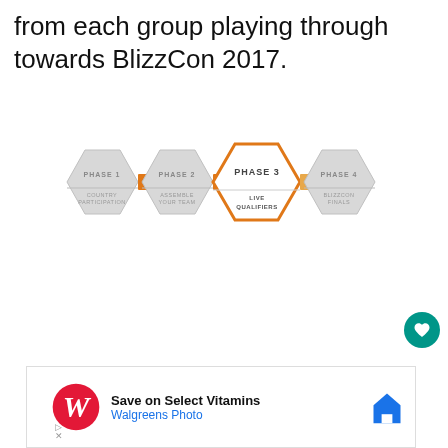from each group playing through towards BlizzCon 2017.
[Figure (infographic): Four-phase hexagon diagram showing Phase 1 (Country Participation), Phase 2 (Assemble Your Team), Phase 3 (Live Qualifiers, highlighted in orange), and Phase 4 (BlizzCon Finals), connected by orange rectangles.]
[Figure (other): Advertisement bar for Walgreens Photo: Save on Select Vitamins, with Walgreens cursive logo and a navigation pin icon.]